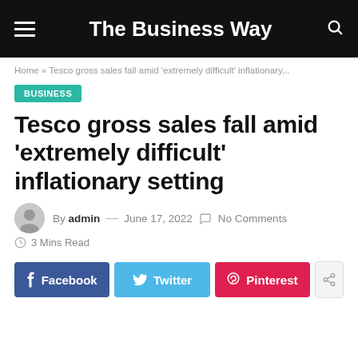The Business Way
Home » Tesco gross sales fall amid 'extremely difficult' inflationary...
BUSINESS
Tesco gross sales fall amid 'extremely difficult' inflationary setting
By admin — June 17, 2022  No Comments  3 Mins Read
[Figure (infographic): Social share buttons: Facebook, Twitter, Pinterest, and a generic share button]